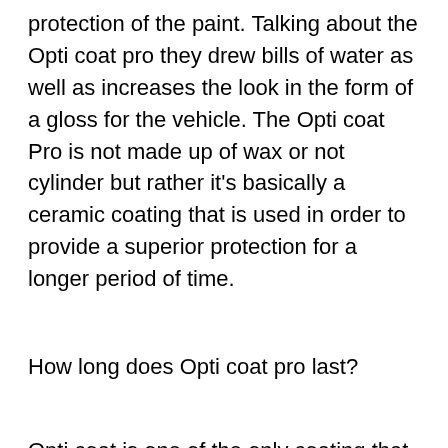protection of the paint. Talking about the Opti coat pro they drew bills of water as well as increases the look in the form of a gloss for the vehicle. The Opti coat Pro is not made up of wax or not cylinder but rather it's basically a ceramic coating that is used in order to provide a superior protection for a longer period of time.
How long does Opti coat pro last?
Opti coat is one of the only coating that is made up of silicon carbide that makes it